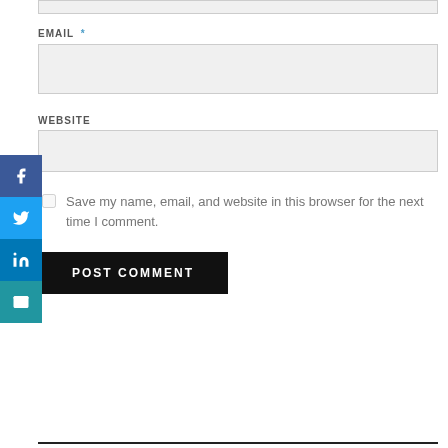EMAIL *
WEBSITE
Save my name, email, and website in this browser for the next time I comment.
POST COMMENT